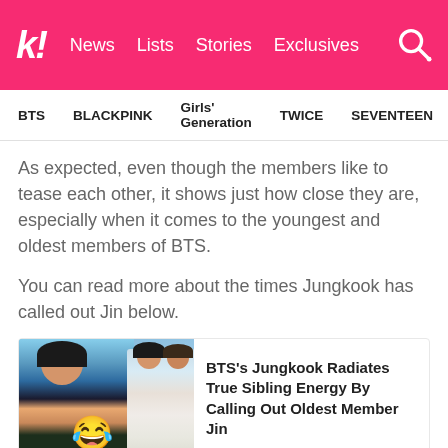k! News  Lists  Stories  Exclusives
BTS  BLACKPINK  Girls' Generation  TWICE  SEVENTEEN
As expected, even though the members like to tease each other, it shows just how close they are, especially when it comes to the youngest and oldest members of BTS.
You can read more about the times Jungkook has called out Jin below.
[Figure (photo): Article card showing BTS members including Jin performing and posing, with a laughing crying emoji overlay]
BTS's Jungkook Radiates True Sibling Energy By Calling Out Oldest Member Jin
SOURCE